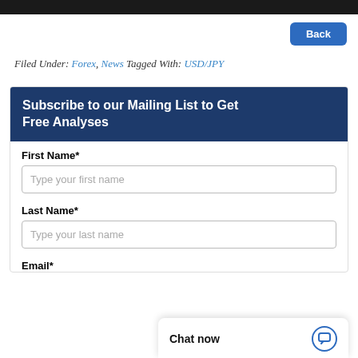Filed Under: Forex, News Tagged With: USD/JPY
Subscribe to our Mailing List to Get Free Analyses
First Name*
Type your first name
Last Name*
Type your last name
Email*
Chat now